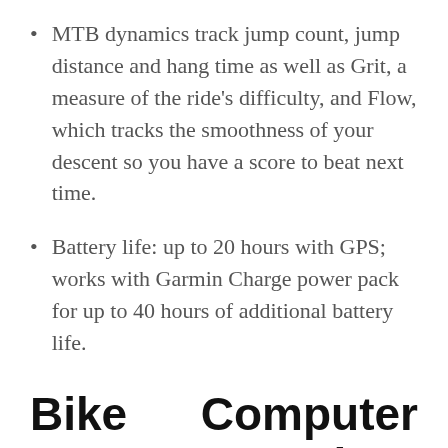MTB dynamics track jump count, jump distance and hang time as well as Grit, a measure of the ride's difficulty, and Flow, which tracks the smoothness of your descent so you have a score to beat next time.
Battery life: up to 20 hours with GPS; works with Garmin Charge power pack for up to 40 hours of additional battery life.
Bike Computer For Trainer Buying Guide
It happens to us all. You're shopping online for a new Bike Computer For